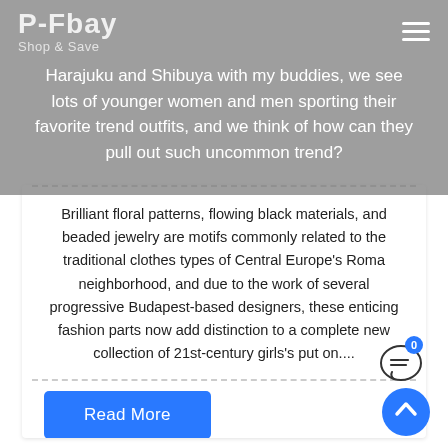P-Fbay
Shop & Save
Harajuku and Shibuya with my buddies, we see lots of younger women and men sporting their favorite trend outfits, and we think of how can they pull out such uncommon trend?
Brilliant floral patterns, flowing black materials, and beaded jewelry are motifs commonly related to the traditional clothes types of Central Europe's Roma neighborhood, and due to the work of several progressive Budapest-based designers, these enticing fashion parts now add distinction to a complete new collection of 21st-century girls's put on....
Read More